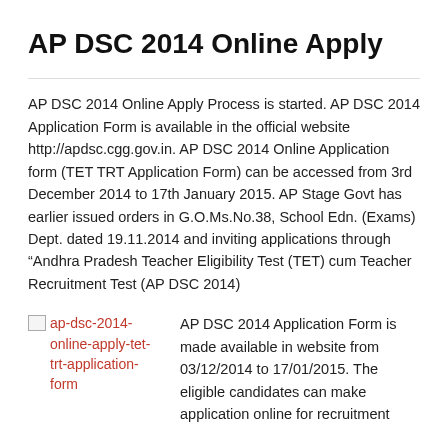AP DSC 2014 Online Apply
AP DSC 2014 Online Apply Process is started. AP DSC 2014 Application Form is available in the official website http://apdsc.cgg.gov.in. AP DSC 2014 Online Application form (TET TRT Application Form) can be accessed from 3rd December 2014 to 17th January 2015. AP Stage Govt has earlier issued orders in G.O.Ms.No.38, School Edn. (Exams) Dept. dated 19.11.2014 and inviting applications through “Andhra Pradesh Teacher Eligibility Test (TET) cum Teacher Recruitment Test (AP DSC 2014)
[Figure (other): Broken image placeholder linking to ap-dsc-2014-online-apply-tet-trt-application-form]
AP DSC 2014 Application Form is made available in website from 03/12/2014 to 17/01/2015. The eligible candidates can make application online for recruitment